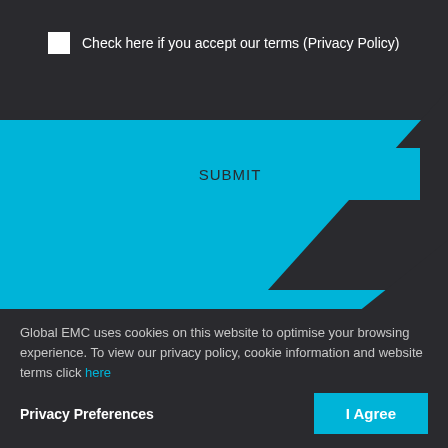Check here if you accept our terms (Privacy Policy)
SUBMIT
© Global EMC
Company No.C
Privacy P
Sign up to our newsletter
Stay in touch with all the latest news from Global EMC UK
Global EMC uses cookies on this website to optimise your browsing experience. To view our privacy policy, cookie information and website terms click here
Privacy Preferences
I Agree